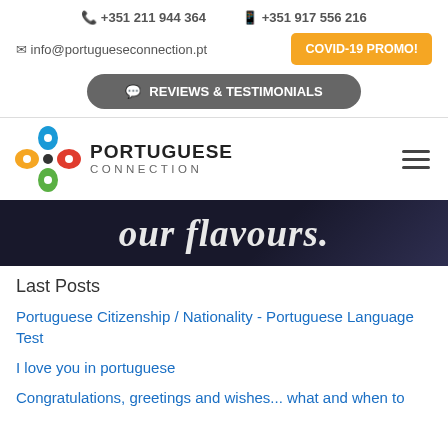📞 +351 211 944 364    📱 +351 917 556 216
✉ info@portugueseconnection.pt   COVID-19 PROMO!
💬 REVIEWS & TESTIMONIALS
[Figure (logo): Portuguese Connection logo with colorful house-pin icon and bold text PORTUGUESE CONNECTION]
[Figure (photo): Dark hero banner image with italic white text 'our flavours.']
Last Posts
Portuguese Citizenship / Nationality - Portuguese Language Test
I love you in portuguese
Congratulations, greetings and wishes... what and when to